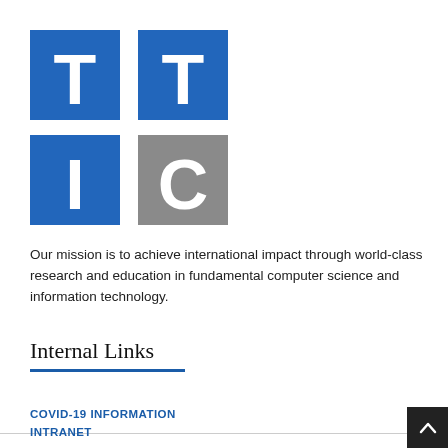[Figure (logo): TTIC logo — four squares in a 2x2 grid. Top-left: blue square with white 'T'. Top-right: blue square with white 'T'. Bottom-left: blue square with white 'I'. Bottom-right: gray square with white 'C'.]
Our mission is to achieve international impact through world-class research and education in fundamental computer science and information technology.
Internal Links
COVID-19 INFORMATION
INTRANET